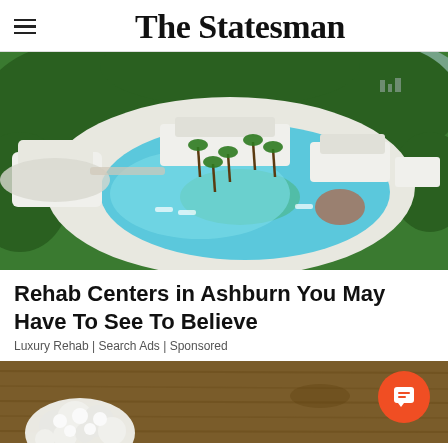The Statesman
[Figure (photo): Aerial view of a luxury resort or rehab center with a large oval-shaped swimming pool surrounded by white modern buildings and tropical palm trees, set in a green landscape.]
Rehab Centers in Ashburn You May Have To See To Believe
Luxury Rehab | Search Ads | Sponsored
[Figure (photo): Close-up of white cauliflower florets on a wooden surface.]